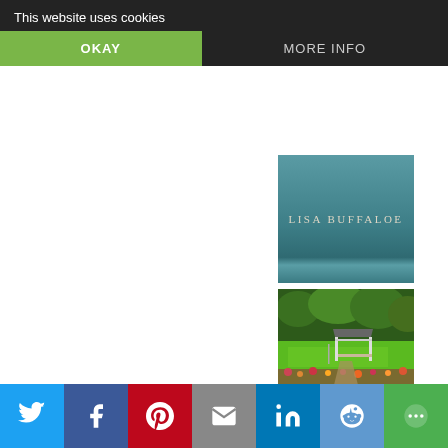This website uses cookies
OKAY
MORE INFO
[Figure (illustration): Teal/blue-green banner with the author name 'Lisa Buffaloe' in serif font]
[Figure (photo): Garden scene with green trees, a white gazebo/pergola structure, and colorful flower beds on a sunny day]
PRESENT
[Figure (infographic): Social sharing bar with icons for Twitter, Facebook, Pinterest, Email, LinkedIn, Reddit, and a More button]